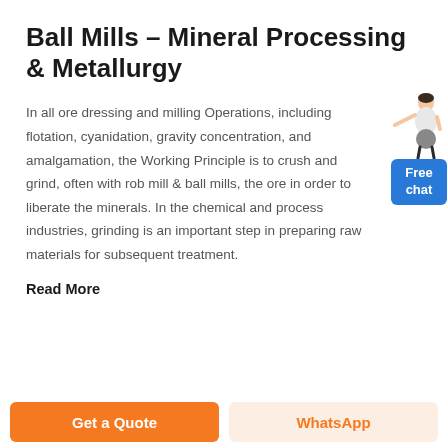Ball Mills – Mineral Processing & Metallurgy
In all ore dressing and milling Operations, including flotation, cyanidation, gravity concentration, and amalgamation, the Working Principle is to crush and grind, often with rob mill & ball mills, the ore in order to liberate the minerals. In the chemical and process industries, grinding is an important step in preparing raw materials for subsequent treatment.
[Figure (illustration): Illustration of a customer service representative figure with a blue 'Free chat' button widget]
Read More
Get a Quote
WhatsApp